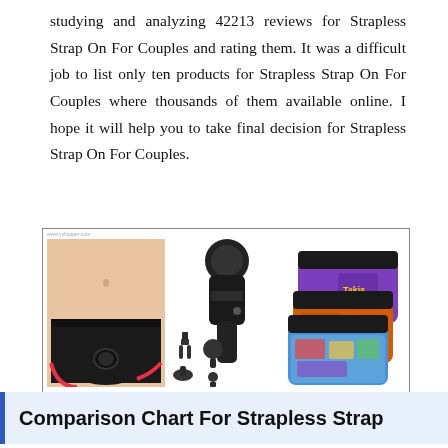studying and analyzing 42213 reviews for Strapless Strap On For Couples and rating them. It was a difficult job to list only ten products for Strapless Strap On For Couples where thousands of them available online. I hope it will help you to take final decision for Strapless Strap On For Couples.
[Figure (photo): A collage of three product images: left shows a person wearing black and red strap-on harness underwear, middle shows a black massage gun with multiple attachments, right shows three pairs of colorful men's boxer briefs with branded prints.]
Comparison Chart For Strapless Strap